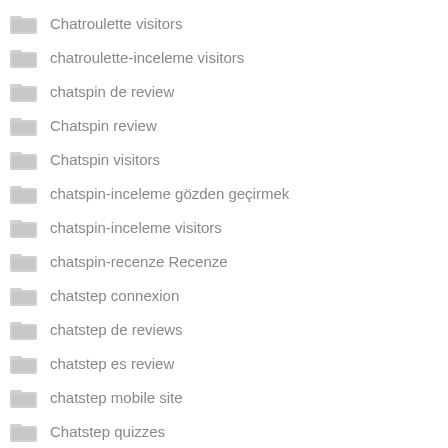Chatroulette visitors
chatroulette-inceleme visitors
chatspin de review
Chatspin review
Chatspin visitors
chatspin-inceleme gözden geçirmek
chatspin-inceleme visitors
chatspin-recenze Recenze
chatstep connexion
chatstep de reviews
chatstep es review
chatstep mobile site
Chatstep quizzes
chatstep review
chatstep seiten
Chatstep visitors